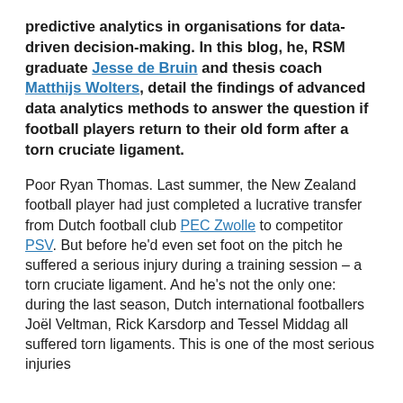predictive analytics in organisations for data-driven decision-making. In this blog, he, RSM graduate Jesse de Bruin and thesis coach Matthijs Wolters, detail the findings of advanced data analytics methods to answer the question if football players return to their old form after a torn cruciate ligament.
Poor Ryan Thomas. Last summer, the New Zealand football player had just completed a lucrative transfer from Dutch football club PEC Zwolle to competitor PSV. But before he'd even set foot on the pitch he suffered a serious injury during a training session – a torn cruciate ligament. And he's not the only one: during the last season, Dutch international footballers Joël Veltman, Rick Karsdorp and Tessel Middag all suffered torn ligaments. This is one of the most serious injuries